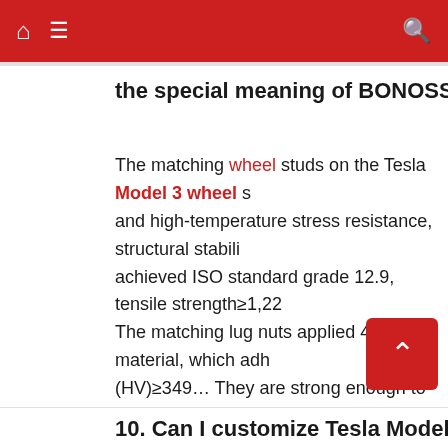Navigation bar with home, menu, and search icons
the special meaning of BONOSS engrave...
The matching wheel studs on the Tesla Model 3 wheel s... and high-temperature stress resistance, structural stabili... achieved ISO standard grade 12.9, tensile strength≥1,22... The matching lug nuts applied 40Cr material, which adh... (HV)≥349… They are strong enough to use in daily drivi... studs or wheel nuts has a unique BONOSS engraved, w... others, BONOSS has a professional factory to ensure th... hundreds of intense impacts. Safer and better than thos...
10. Can I customize Tesla Model Y whe...